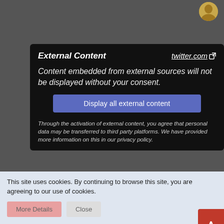[Figure (screenshot): External Content consent box for twitter.com. Shows bold italic title 'External Content', link 'twitter.com' with external icon, italic body text 'Content embedded from external sources will not be displayed without your consent.', a 'Display all external content' button, and footer privacy policy text.]
[Figure (screenshot): External Content consent box for www.youtube.com (partially visible). Shows bold italic title 'External Content', link 'www.youtube.com' with external icon, italic body text 'Content embedded from external sources will not be displayed without your consent.', and a 'Display all external content' button.]
This site uses cookies. By continuing to browse this site, you are agreeing to our use of cookies.